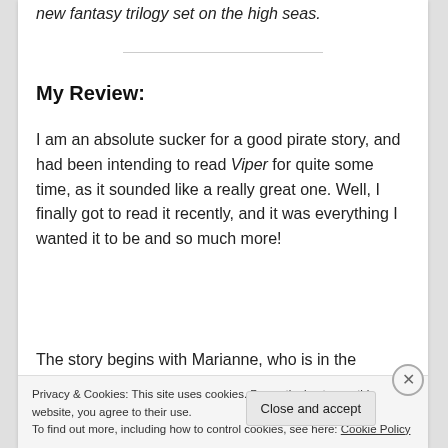new fantasy trilogy set on the high seas.
My Review:
I am an absolute sucker for a good pirate story, and had been intending to read Viper for quite some time, as it sounded like a really great one. Well, I finally got to read it recently, and it was everything I wanted it to be and so much more!
The story begins with Marianne, who is in the process of dissecting a dead bird when she is
Privacy & Cookies: This site uses cookies. By continuing to use this website, you agree to their use. To find out more, including how to control cookies, see here: Cookie Policy
Close and accept